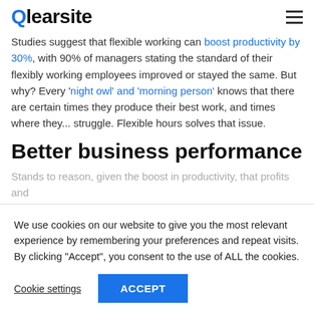Qlearsite
Studies suggest that flexible working can boost productivity by 30%, with 90% of managers stating the standard of their flexibly working employees improved or stayed the same. But why? Every 'night owl' and 'morning person' knows that there are certain times they produce their best work, and times where they... struggle. Flexible hours solves that issue.
Better business performance
Stands to reason, given the boost in productivity, that profits and
We use cookies on our website to give you the most relevant experience by remembering your preferences and repeat visits. By clicking "Accept", you consent to the use of ALL the cookies.
Cookie settings  ACCEPT